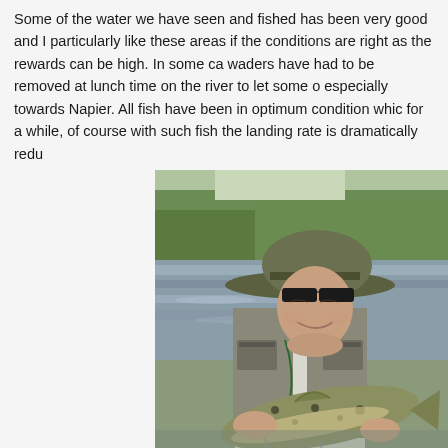Some of the water we have seen and fished has been very good and I particularly like these areas if the conditions are right as the rewards can be high. In some cases waders have had to be removed at lunch time on the river to let some of especially towards Napier. All fish have been in optimum condition whic for a while, of course with such fish the landing rate is dramatically redu
[Figure (photo): A man wearing a green wide-brimmed hat and fishing vest/waders stands in a river holding a large trout. He is smiling at the camera. The background shows a river with green trees and shrubs along the bank.]